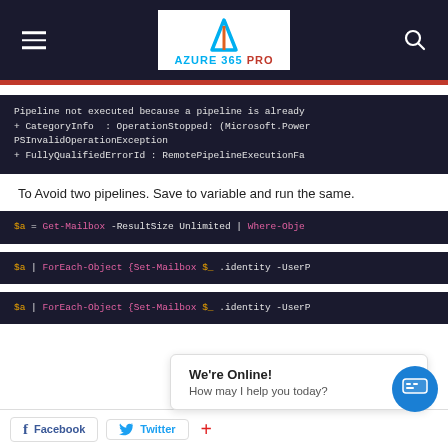AZURE 365 PRO
[Figure (screenshot): Code block showing PowerShell error: Pipeline not executed because a pipeline is already running. + CategoryInfo : OperationStopped: (Microsoft.Power PSInvalidOperationException + FullyQualifiedErrorId : RemotePipelineExecutionFa]
To Avoid two pipelines. Save to variable and run the same.
[Figure (screenshot): Code block: $a = Get-Mailbox -ResultSize Unlimited | Where-Obje]
[Figure (screenshot): Code block: $a | ForEach-Object {Set-Mailbox $_.identity -UserP]
[Figure (screenshot): Code block: $a | ForEach-Object {Set-Mailbox $_.identity -UserP]
We're Online! How may I help you today? Facebook Twitter +